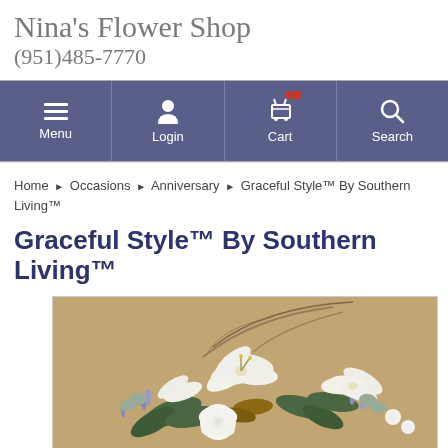Nina's Flower Shop
(951)485-7770
[Figure (screenshot): Navigation bar with Menu, Login, Cart, and Search icons on a purple/slate background]
Home ▶ Occasions ▶ Anniversary ▶ Graceful Style™ By Southern Living™
Graceful Style™ By Southern Living™
[Figure (photo): Floral arrangement with white lilies, white roses, green foliage, and purple accents against a beige/tan textured background]